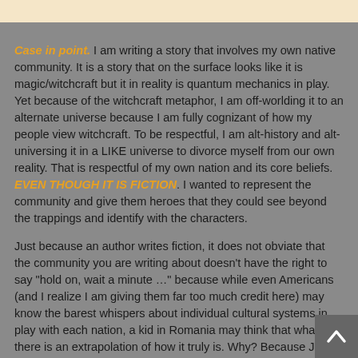Case in point. I am writing a story that involves my own native community. It is a story that on the surface looks like it is magic/witchcraft but it in reality is quantum mechanics in play. Yet because of the witchcraft metaphor, I am off-worlding it to an alternate universe because I am fully cognizant of how my people view witchcraft. To be respectful, I am alt-history and alt-universing it in a LIKE universe to divorce myself from our own reality. That is respectful of my own nation and its core beliefs. EVEN THOUGH IT IS FICTION. I wanted to represent the community and give them heroes that they could see beyond the trappings and identify with the characters.
Just because an author writes fiction, it does not obviate that the community you are writing about doesn’t have the right to say “hold on, wait a minute …” because while even Americans (and I realize I am giving them far too much credit here) may know the barest whispers about individual cultural systems in play with each nation, a kid in Romania may think that what’s there is an extrapolation of how it truly is. Why? Because Jo has rooted whatever she’s concocted in the real world (muggle vs. wizard).